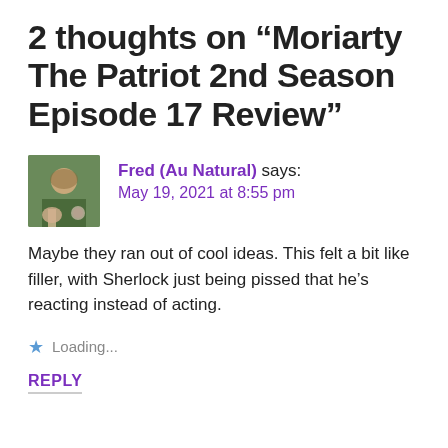2 thoughts on “Moriarty The Patriot 2nd Season Episode 17 Review”
Fred (Au Natural) says:
May 19, 2021 at 8:55 pm
Maybe they ran out of cool ideas. This felt a bit like filler, with Sherlock just being pissed that he’s reacting instead of acting.
Loading...
REPLY